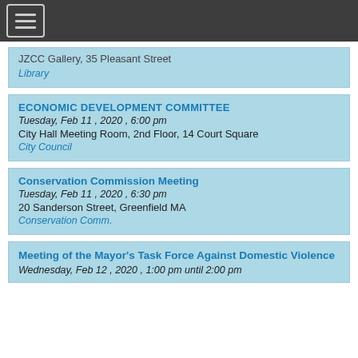[hamburger menu icon]
JZCC Gallery, 35 Pleasant Street
Library
ECONOMIC DEVELOPMENT COMMITTEE
Tuesday, Feb 11 , 2020 , 6:00 pm
City Hall Meeting Room, 2nd Floor, 14 Court Square
City Council
Conservation Commission Meeting
Tuesday, Feb 11 , 2020 , 6:30 pm
20 Sanderson Street, Greenfield MA
Conservation Comm.
Meeting of the Mayor's Task Force Against Domestic Violence
Wednesday, Feb 12 , 2020 , 1:00 pm until 2:00 pm